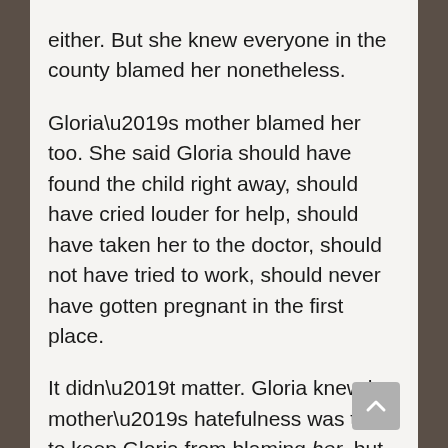either. But she knew everyone in the county blamed her nonetheless.
Gloria’s mother blamed her too. She said Gloria should have found the child right away, should have cried louder for help, should have taken her to the doctor, should not have tried to work, should never have gotten pregnant in the first place.
It didn’t matter. Gloria knew her mother’s hatefulness was there to keep Gloria from blaming her, but Gloria didn’t think like that. Gloria said nothing.
Still nothing hurt worse than the blame Gloria put on herself. The way them people didn’t